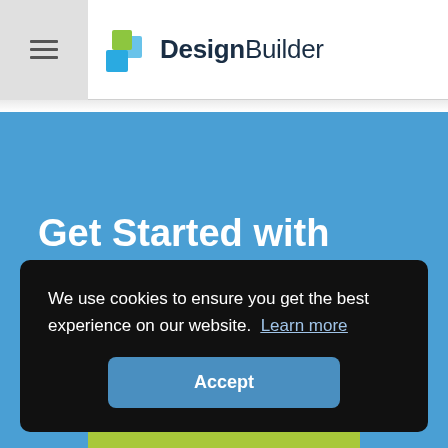DesignBuilder
Get Started with DesignBuilder for
We use cookies to ensure you get the best experience on our website. Learn more
Accept